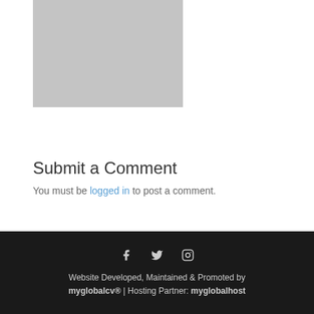[Figure (photo): A gray placeholder image rectangle]
Submit a Comment
You must be logged in to post a comment.
Website Developed, Maintained & Promoted by myglobalcv® | Hosting Partner: myglobalhost